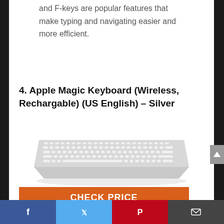and F-keys are popular features that make typing and navigating easier and more efficient.
4. Apple Magic Keyboard (Wireless, Rechargable) (US English) – Silver
[Figure (photo): Apple Magic Keyboard (Wireless, Rechargable) in silver color, shown from a slight angle above]
CHECK PRICE
Social share bar with Facebook, Twitter, Pinterest, Email icons